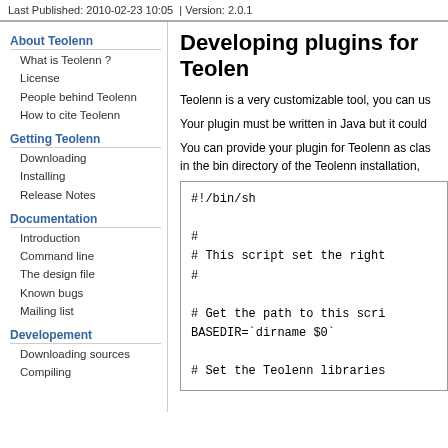Last Published: 2010-02-23 10:05  | Version: 2.0.1
About Teolenn
What is Teolenn ?
License
People behind Teolenn
How to cite Teolenn
Getting Teolenn
Downloading
Installing
Release Notes
Documentation
Introduction
Command line
The design file
Known bugs
Mailing list
Developement
Downloading sources
Compiling
Developing plugins for Teolen
Teolenn is a very customizable tool, you can us
Your plugin must be written in Java but it could
You can provide your plugin for Teolenn as clas in the bin directory of the Teolenn installation,
#!/bin/sh

#
# This script set the right
#

# Get the path to this scri
BASEDIR=`dirname $0`

# Set the Teolenn libraries